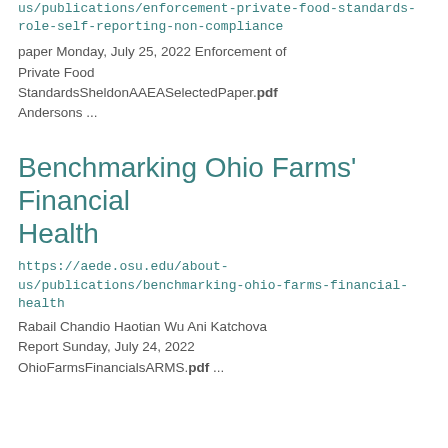us/publications/enforcement-private-food-standards-role-self-reporting-non-compliance
paper Monday, July 25, 2022 Enforcement of Private Food StandardsSheldonAAEASelectedPaper.pdf Andersons ...
Benchmarking Ohio Farms' Financial Health
https://aede.osu.edu/about-us/publications/benchmarking-ohio-farms-financial-health
Rabail Chandio Haotian Wu Ani Katchova
Report Sunday, July 24, 2022
OhioFarmsFinancialsARMS.pdf ...